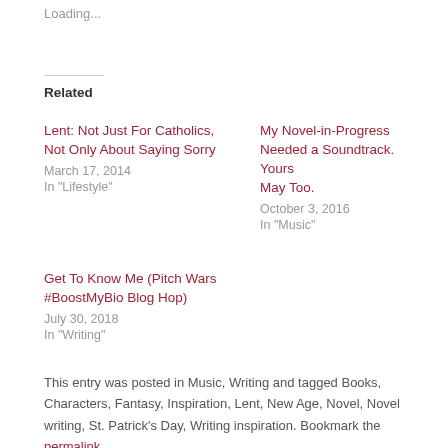Loading...
Related
Lent: Not Just For Catholics, Not Only About Saying Sorry
March 17, 2014
In "Lifestyle"
My Novel-in-Progress Needed a Soundtrack. Yours May Too.
October 3, 2016
In "Music"
Get To Know Me (Pitch Wars #BoostMyBio Blog Hop)
July 30, 2018
In "Writing"
This entry was posted in Music, Writing and tagged Books, Characters, Fantasy, Inspiration, Lent, New Age, Novel, Novel writing, St. Patrick's Day, Writing inspiration. Bookmark the permalink.